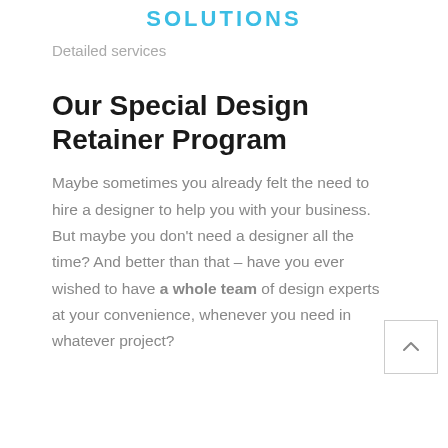SOLUTIONS
Detailed services
Our Special Design Retainer Program
Maybe sometimes you already felt the need to hire a designer to help you with your business. But maybe you don't need a designer all the time? And better than that – have you ever wished to have a whole team of design experts at your convenience, whenever you need in whatever project?